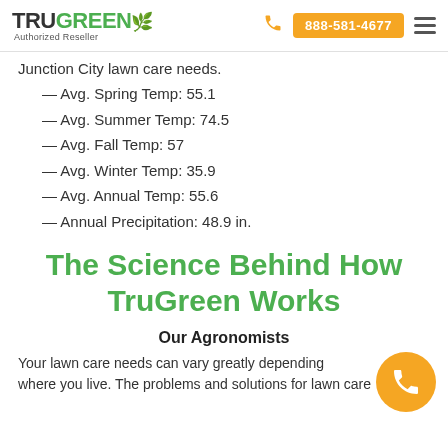TruGreen Authorized Reseller | 888-581-4677
Junction City lawn care needs.
— Avg. Spring Temp: 55.1
— Avg. Summer Temp: 74.5
— Avg. Fall Temp: 57
— Avg. Winter Temp: 35.9
— Avg. Annual Temp: 55.6
— Annual Precipitation: 48.9 in.
The Science Behind How TruGreen Works
Our Agronomists
Your lawn care needs can vary greatly depending where you live. The problems and solutions for lawn care